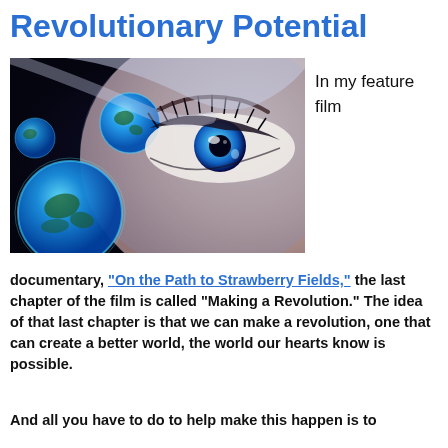Revolutionary Potential
[Figure (photo): A composite image showing a close-up of a blue human eye alongside glowing blue Earth globes on a dark background, suggesting a vision of the world.]
In my feature film
documentary, “On the Path to Strawberry Fields,” the last chapter of the film is called “Making a Revolution.” The idea of that last chapter is that we can make a revolution, one that can create a better world, the world our hearts know is possible.
And all you have to do to help make this happen is to